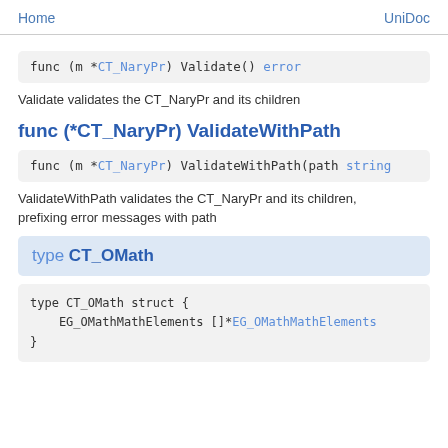Home    UniDoc
func (m *CT_NaryPr) Validate() error
Validate validates the CT_NaryPr and its children
func (*CT_NaryPr) ValidateWithPath
func (m *CT_NaryPr) ValidateWithPath(path string
ValidateWithPath validates the CT_NaryPr and its children, prefixing error messages with path
type CT_OMath
type CT_OMath struct {
    EG_OMathMathElements []*EG_OMathMathElements
}